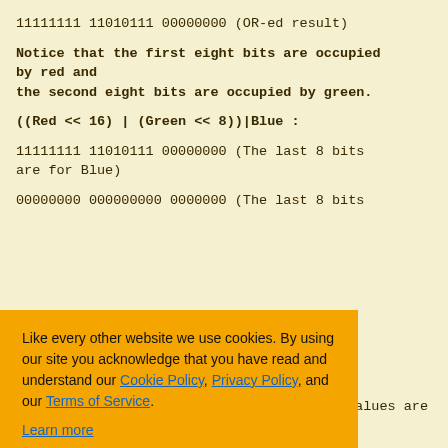11111111 11010111 00000000 (OR-ed result)
Notice that the first eight bits are occupied by red and the second eight bits are occupied by green.
((Red << 16) | (Green << 8))|Blue :
11111111 11010111 00000000 (The last 8 bits are for Blue)
00000000 000000000 0000000 (The last 8 bits
[Figure (screenshot): Cookie consent banner with orange background. Text reads: 'Like every other website we use cookies. By using our site you acknowledge that you have read and understand our Cookie Policy, Privacy Policy, and our Terms of Service. Learn more'. Three buttons: 'Ask me later', 'Decline', 'Allow cookies'.]
3 values are
e) | Alpha << 24 :